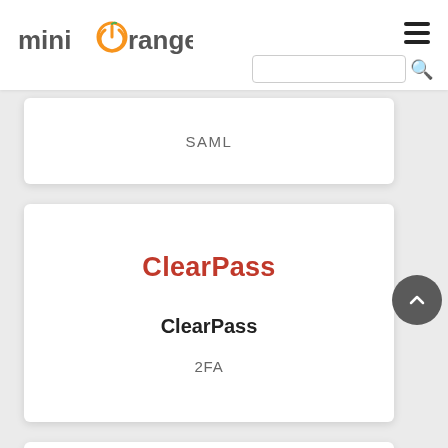miniOrange
[Figure (screenshot): miniOrange logo with orange circle icon]
SAML
ClearPass
ClearPass
2FA